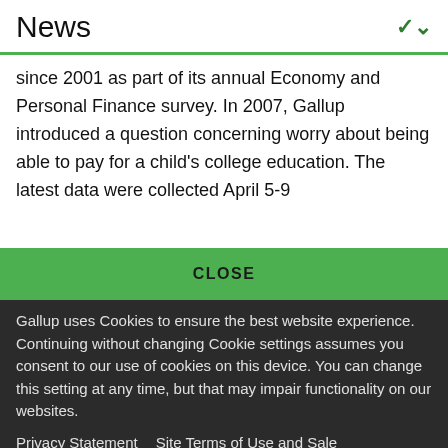News
since 2001 as part of its annual Economy and Personal Finance survey. In 2007, Gallup introduced a question concerning worry about being able to pay for a child's college education. The latest data were collected April 5-9
CLOSE
Gallup uses Cookies to ensure the best website experience. Continuing without changing Cookie settings assumes you consent to our use of cookies on this device. You can change this setting at any time, but that may impair functionality on our websites.
Privacy Statement   Site Terms of Use and Sale
Product Terms of Use   Adjust your cookie settings.